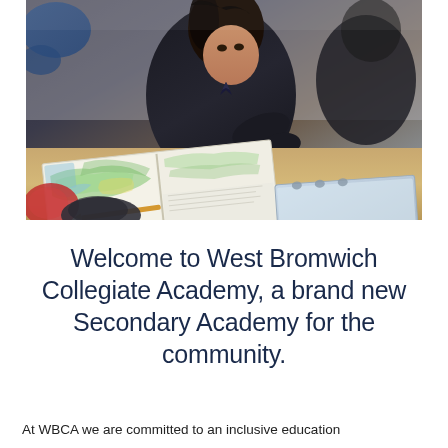[Figure (photo): A school student in black uniform sitting at a classroom desk with an open textbook/atlas showing colourful maps. Blue chairs visible in the background.]
Welcome to West Bromwich Collegiate Academy, a brand new Secondary Academy for the community.
At WBCA we are committed to an inclusive education